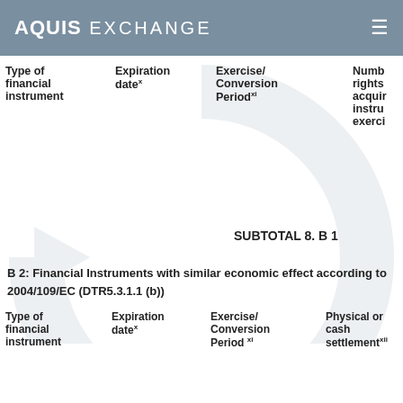AQUIS EXCHANGE
| Type of financial instrument | Expiration datex | Exercise/ Conversion Periodxi | Number of rights to acquire instruments on exercise |
| --- | --- | --- | --- |
SUBTOTAL 8. B 1
B 2: Financial Instruments with similar economic effect according to 2004/109/EC (DTR5.3.1.1 (b))
| Type of financial instrument | Expiration datex | Exercise/ Conversion Period xi | Physical or cash settlementxii | Number of rights |
| --- | --- | --- | --- | --- |